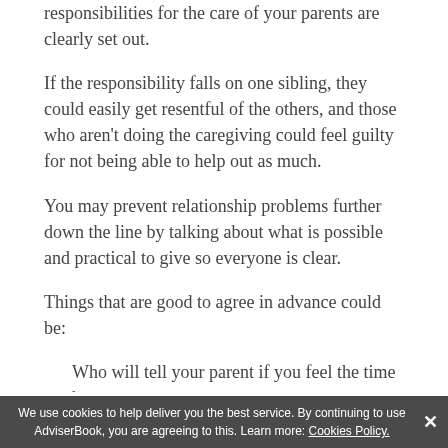responsibilities for the care of your parents are clearly set out.
If the responsibility falls on one sibling, they could easily get resentful of the others, and those who aren't doing the caregiving could feel guilty for not being able to help out as much.
You may prevent relationship problems further down the line by talking about what is possible and practical to give so everyone is clear.
Things that are good to agree in advance could be:
Who will tell your parent if you feel the time has
We use cookies to help deliver you the best service. By continuing to use AdviserBook, you are agreeing to this. Learn more: Cookies Policy.